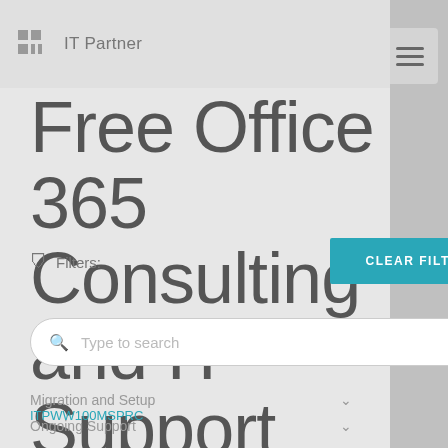IT Partner
Free Office 365 Consulting and IT Support
Filters:
CLEAR FILTER
Type to search
Migration and Setup
Ongoing Support
Training and Adoption
ITPWW100MSPRC
Cloud
Free Office 365 Consulting and IT